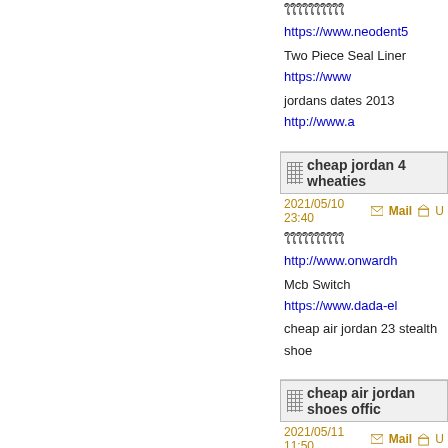ใใใใใใใใใใ https://www.neodent5
Two Piece Seal Liner https://www
jordans dates 2013 http://www.a
cheap jordan 4 wheaties
2021/05/10 23:40  Mail  U
ใใใใใใใใใใ http://www.onwardh
Mcb Switch https://www.dada-el
cheap air jordan 23 stealth shoe
cheap air jordan shoes offic
2021/05/11 11:50  Mail  U
Glass Teapot And Warmer Set S
ใใใใใใใใใใใใใใใใใใ https://neftross
jordan maroon 6 http://www.airjo
Other Cylinder Supplier
2021/05/11 15:30  Mail  U
louis vuitton tag belts http://www